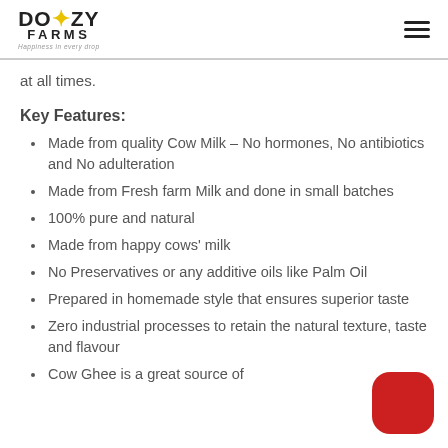[Figure (logo): Doozy Farms logo with cow icon and tagline 'Happiness in every drop']
at all times.
Key Features:
Made from quality Cow Milk – No hormones, No antibiotics and No adulteration
Made from Fresh farm Milk and done in small batches
100% pure and natural
Made from happy cows' milk
No Preservatives or any additive oils like Palm Oil
Prepared in homemade style that ensures superior taste
Zero industrial processes to retain the natural texture, taste and flavour
Cow Ghee is a great source of